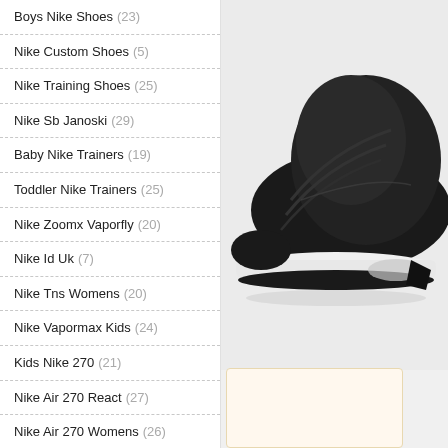Boys Nike Shoes (23)
Nike Custom Shoes (5)
Nike Training Shoes (25)
Nike Sb Janoski (29)
Baby Nike Trainers (19)
Toddler Nike Trainers (25)
Nike Zoomx Vaporfly (20)
Nike Id Uk (7)
Nike Tns Womens (20)
Nike Vapormax Kids (24)
Kids Nike 270 (21)
Nike Air 270 React (27)
Nike Air 270 Womens (26)
Nike Air Force 1S (25)
Nike Air Force Shadow (25)
Nike Air Zoom Structure 22 (24)
[Figure (photo): Close-up of a black Nike sneaker (Air Max 97 style) on a light gray background, showing mesh upper, leather panels, and white midsole with air unit]